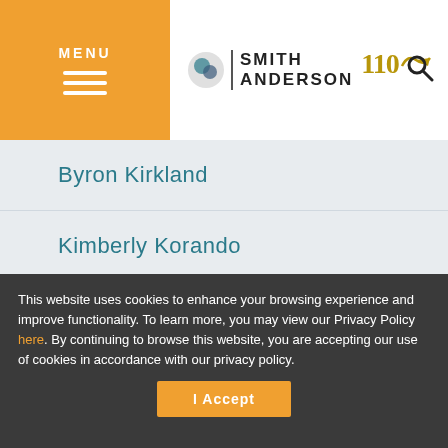Smith Anderson 110 Years
Byron Kirkland
Kimberly Korando
Wayne Maiorano
Peter Marino
This website uses cookies to enhance your browsing experience and improve functionality. To learn more, you may view our Privacy Policy here. By continuing to browse this website, you are accepting our use of cookies in accordance with our privacy policy.